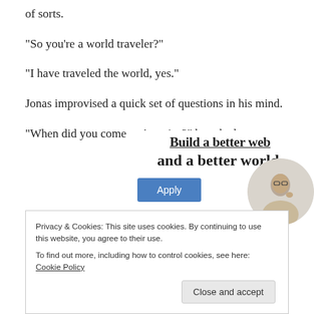of sorts.
“So you’re a world traveler?”
“I have traveled the world, yes.”
Jonas improvised a quick set of questions in his mind.
“When did you come to America?” he asked.
[Figure (infographic): Advertisement banner with bold text 'Build a better web and a better world.' with an Apply button and a circular photo of a person.]
Privacy & Cookies: This site uses cookies. By continuing to use this website, you agree to their use.
To find out more, including how to control cookies, see here: Cookie Policy
Close and accept